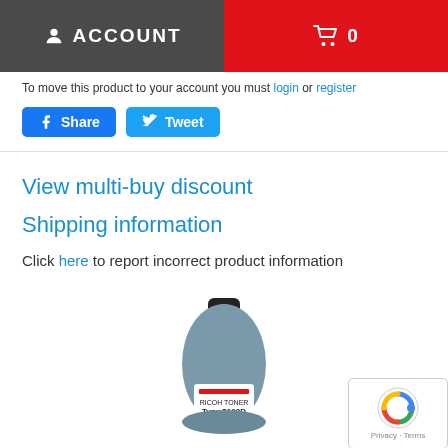ACCOUNT   🛒 0
To move this product to your account you must login or register
[Figure (screenshot): Facebook Share button and Twitter Tweet button]
View multi-buy discount
Shipping information
Click here to report incorrect product information
[Figure (photo): Ricoh Toner Type 3100D black toner bottle product image]